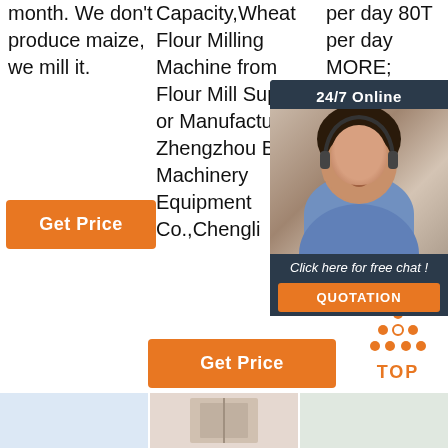month. We don't produce maize, we mill it.
[Figure (other): Orange Get Price button]
Capacity,Wheat Flour Milling Machine from Flour Mill Supplier or Manufacturer-Zhengzhou Bainte Machinery Equipment Co.,Chengli
per day 80T per day MORE; DLCF Compact Maize Flour M... DL... M... Fl... is...
[Figure (photo): 24/7 online chat widget with customer service representative wearing headset, dark background, with 'Click here for free chat!' text and QUOTATION button]
[Figure (other): Orange Get Price button (second column)]
[Figure (other): TOP navigation button with orange dots in triangle pattern]
[Figure (photo): Three product image thumbnails at bottom of page]